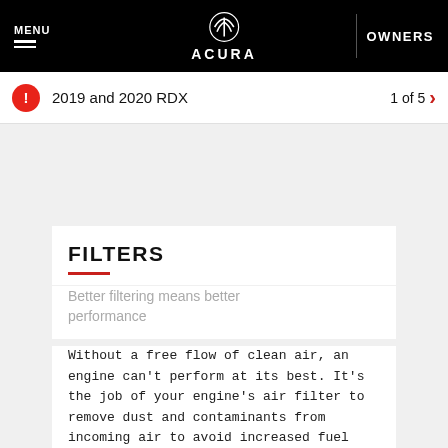MENU | ACURA | OWNERS
2019 and 2020 RDX   1 of 5
FILTERS
Better filtering means better performance
Without a free flow of clean air, an engine can't perform at its best. It's the job of your engine's air filter to remove dust and contaminants from incoming air to avoid increased fuel consumption and premature engine wear. If pollutants build up on the filter, engine airflow becomes restricted, which adversely affects performance. When it's time to replace your old air filter, choose a new Acura Genuine Engine Air Filter. Made from advanced materials designed for superior filtration and airflow.